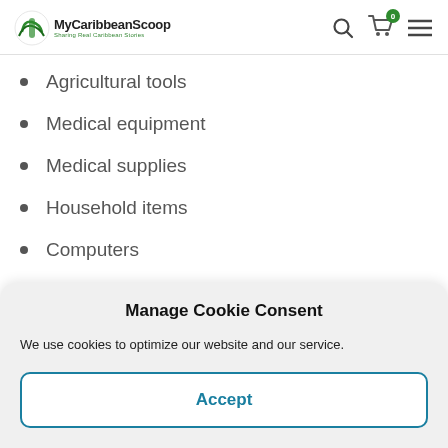MyCaribbeanScoop — Sharing Real Caribbean Stories
Agricultural tools
Medical equipment
Medical supplies
Household items
Computers
Manage Cookie Consent
We use cookies to optimize our website and our service.
Accept